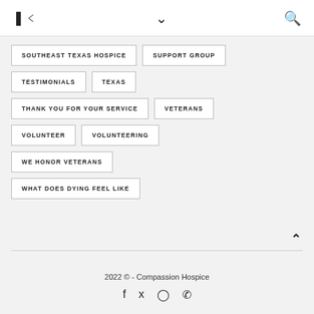share / dropdown / search icons
SOUTHEAST TEXAS HOSPICE
SUPPORT GROUP
TESTIMONIALS
TEXAS
THANK YOU FOR YOUR SERVICE
VETERANS
VOLUNTEER
VOLUNTEERING
WE HONOR VETERANS
WHAT DOES DYING FEEL LIKE
2022 © - Compassion Hospice